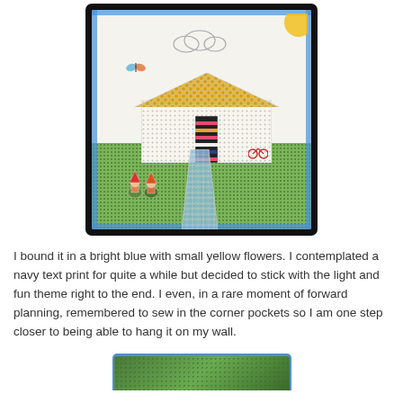[Figure (photo): A quilt with an appliqued house scene. The quilt shows a house with a yellow checkered roof, white walls with dotted pattern, a colorful chevron front door, green grass lawn, blue pathway, clouds, sun, butterfly, trees, bicycle, mailbox, and garden gnomes. The quilt has a bright blue border with yellow flowers.]
I bound it in a bright blue with small yellow flowers. I contemplated a navy text print for quite a while but decided to stick with the light and fun theme right to the end. I even, in a rare moment of forward planning, remembered to sew in the corner pockets so I am one step closer to being able to hang it on my wall.
[Figure (photo): Partial view of another quilt or fabric item, showing green tones, cropped at the bottom of the page.]